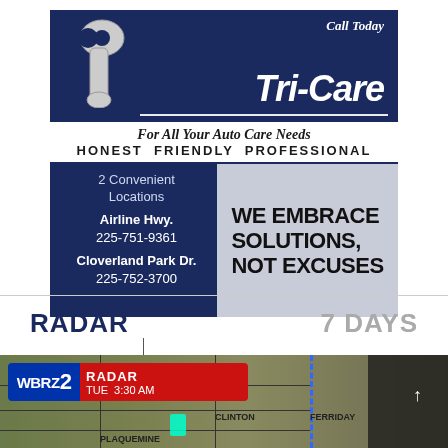[Figure (advertisement): Tri-Care auto care advertisement with dark navy background, wrench logo, tagline 'For All Your Auto Care Needs', 'HONEST FRIENDLY PROFESSIONAL', two location addresses with phone numbers, and 'WE EMBRACE SOLUTIONS, NOT EXCUSES' slogan panel]
RADAR
7 DAYS
[Figure (screenshot): WBRZ2 weather radar map screenshot showing satellite/aerial map view with WBRZ2 RADAR TUE 3:30 AM overlay bar, a blue dashed vertical line, a cyan radar blip, and a dark panel on the right with an up arrow]